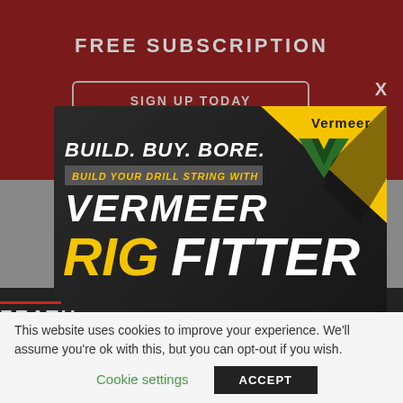FREE SUBSCRIPTION
SIGN UP TODAY
X
[Figure (advertisement): Vermeer advertisement: BUILD. BUY. BORE. Build your drill string with Vermeer RigFitter. Shows yellow construction drilling machinery. Vermeer logo with green V chevron on yellow triangle background.]
FEATU
This website uses cookies to improve your experience. We'll assume you're ok with this, but you can opt-out if you wish.
Cookie settings
ACCEPT